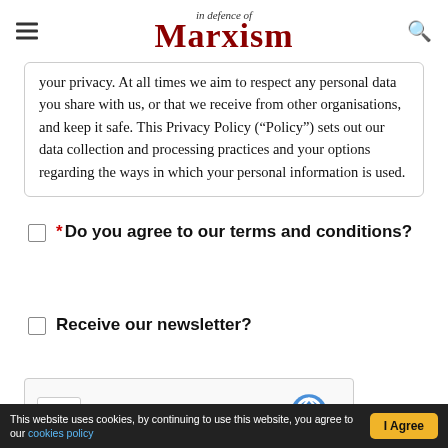In Defence of Marxism
your privacy. At all times we aim to respect any personal data you share with us, or that we receive from other organisations, and keep it safe. This Privacy Policy (“Policy”) sets out our data collection and processing practices and your options regarding the ways in which your personal information is used.
* Do you agree to our terms and conditions?
Receive our newsletter?
[Figure (other): reCAPTCHA widget with checkbox and Google reCAPTCHA logo]
This website uses cookies, by continuing to use this website, you agree to our cookies policy | I Agree